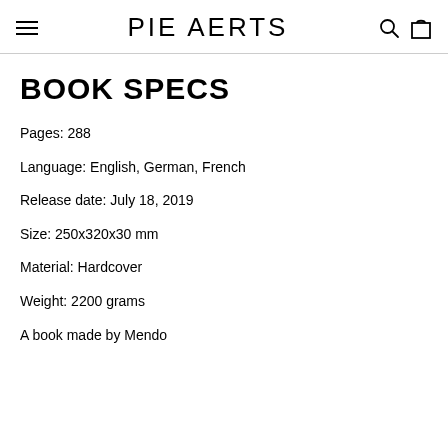PIE AERTS
BOOK SPECS
Pages: 288
Language: English, German, French
Release date: July 18, 2019
Size: 250x320x30 mm
Material: Hardcover
Weight: 2200 grams
A book made by Mendo